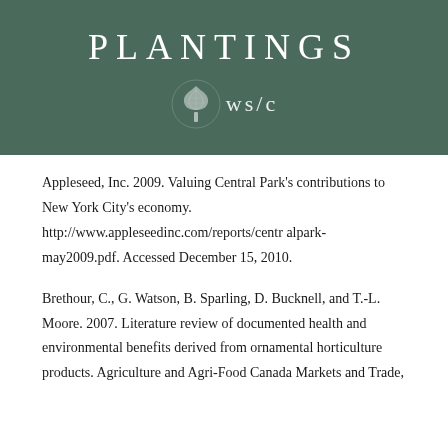PLANTINGS
[Figure (logo): WSC logo with tree illustration and text 'ws/c' on dark green background]
Appleseed, Inc. 2009. Valuing Central Park’s contributions to New York City’s economy. http://www.appleseedinc.com/reports/centralpark- may2009.pdf. Accessed December 15, 2010.
Brethour, C., G. Watson, B. Sparling, D. Bucknell, and T.-L. Moore. 2007. Literature review of documented health and environmental benefits derived from ornamental horticulture products. Agriculture and Agri-Food Canada Markets and Trade,